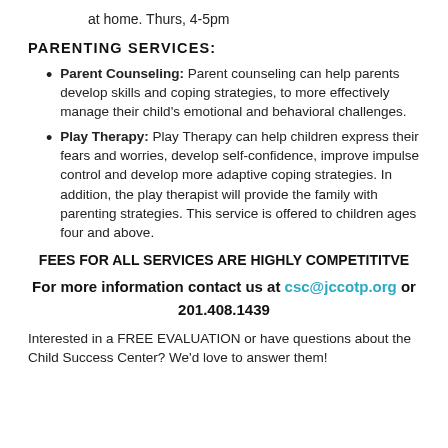at home. Thurs, 4-5pm
PARENTING SERVICES:
Parent Counseling: Parent counseling can help parents develop skills and coping strategies, to more effectively manage their child's emotional and behavioral challenges.
Play Therapy: Play Therapy can help children express their fears and worries, develop self-confidence, improve impulse control and develop more adaptive coping strategies. In addition, the play therapist will provide the family with parenting strategies. This service is offered to children ages four and above.
FEES FOR ALL SERVICES ARE HIGHLY COMPETITITVE
For more information contact us at csc@jccotp.org or 201.408.1439
Interested in a FREE EVALUATION or have questions about the Child Success Center? We'd love to answer them!